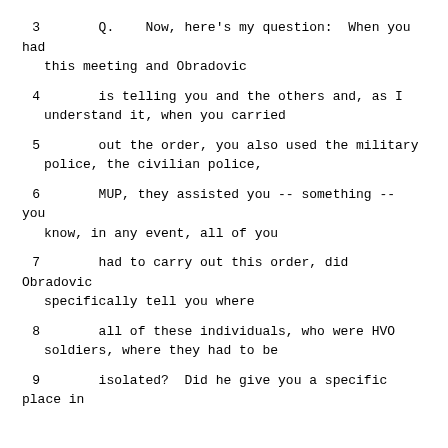3      Q.   Now, here's my question:  When you had this meeting and Obradovic
4     is telling you and the others and, as I understand it, when you carried
5     out the order, you also used the military police, the civilian police,
6     MUP, they assisted you -- something -- you know, in any event, all of you
7     had to carry out this order, did Obradovic specifically tell you where
8     all of these individuals, who were HVO soldiers, where they had to be
9     isolated?  Did he give you a specific place in